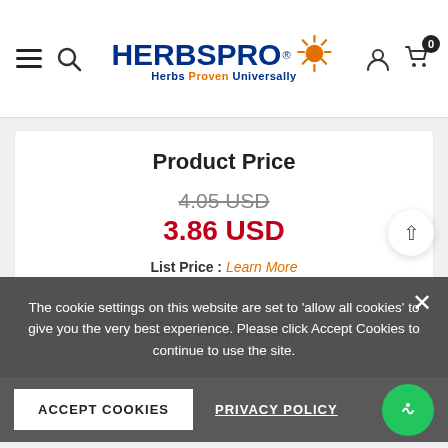HERBSPRO - Herbs Proven Universally
Product Price
4.05 USD (strikethrough original price)
3.86 USD (sale price)
List Price : Learn More
Select Quantity
1 (quantity input)
Subtotal : 3.86 USD
The cookie settings on this website are set to 'allow all cookies' to give you the very best experience. Please click Accept Cookies to continue to use the site.
ACCEPT COOKIES | PRIVACY POLICY